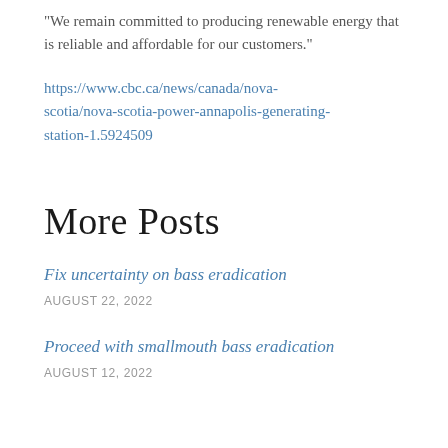“We remain committed to producing renewable energy that is reliable and affordable for our customers.”
https://www.cbc.ca/news/canada/nova-scotia/nova-scotia-power-annapolis-generating-station-1.5924509
More Posts
Fix uncertainty on bass eradication
AUGUST 22, 2022
Proceed with smallmouth bass eradication
AUGUST 12, 2022